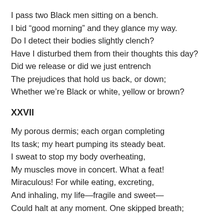I pass two Black men sitting on a bench.
I bid “good morning” and they glance my way.
Do I detect their bodies slightly clench?
Have I disturbed them from their thoughts this day?
Did we release or did we just entrench
The prejudices that hold us back, or down;
Whether we’re Black or white, yellow or brown?
XXVII
My porous dermis; each organ completing
Its task; my heart pumping its steady beat.
I sweat to stop my body overheating,
My muscles move in concert. What a feat!
Miraculous! For while eating, excreting,
And inhaling, my life—fragile and sweet—
Could halt at any moment. One skipped breath;